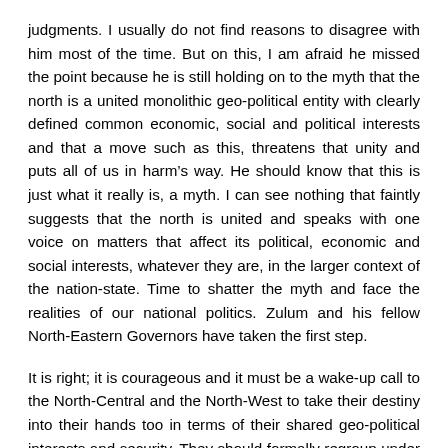judgments. I usually do not find reasons to disagree with him most of the time. But on this, I am afraid he missed the point because he is still holding on to the myth that the north is a united monolithic geo-political entity with clearly defined common economic, social and political interests and that a move such as this, threatens that unity and puts all of us in harm's way. He should know that this is just what it really is, a myth. I can see nothing that faintly suggests that the north is united and speaks with one voice on matters that affect its political, economic and social interests, whatever they are, in the larger context of the nation-state. Time to shatter the myth and face the realities of our national politics. Zulum and his fellow North-Eastern Governors have taken the first step.
It is right; it is courageous and it must be a wake-up call to the North-Central and the North-West to take their destiny into their hands too in terms of their shared geo-political interests and security. They should formally regroup under their geo-political zones and rise from the ashes of the Northern States Governors Forum. The forum certainly served its purpose when